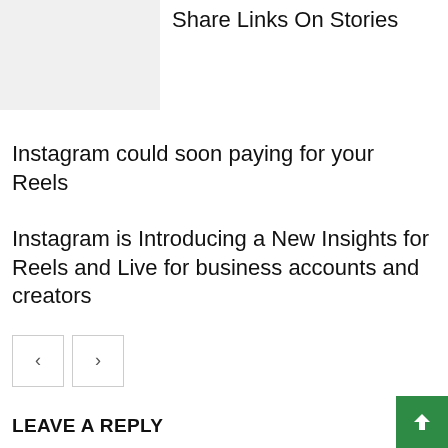[Figure (photo): Thumbnail image placeholder (light gray rectangle)]
Share Links On Stories
Instagram could soon paying for your Reels
Instagram is Introducing a New Insights for Reels and Live for business accounts and creators
< >
LEAVE A REPLY
Comment: